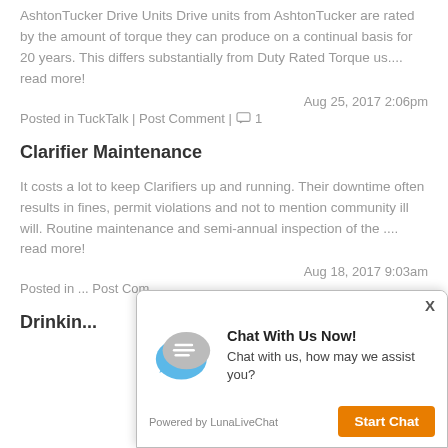AshtonTucker Drive Units Drive units from AshtonTucker are rated by the amount of torque they can produce on a continual basis for 20 years.  This differs substantially from Duty Rated Torque us.... read more!
Aug 25, 2017 2:06pm
Posted in TuckTalk | Post Comment | 1
Clarifier Maintenance
It costs a lot to keep Clarifiers up and running. Their downtime often results in fines, permit violations and not to mention community ill will. Routine maintenance and semi-annual inspection of the .... read more!
Aug 18, 2017 9:03am
Posted in ... Post Com...
Drinkin...
[Figure (screenshot): Live chat popup overlay with chat bubble icon, title 'Chat With Us Now!', description text, powered by LunaLiveChat, and Start Chat button.]